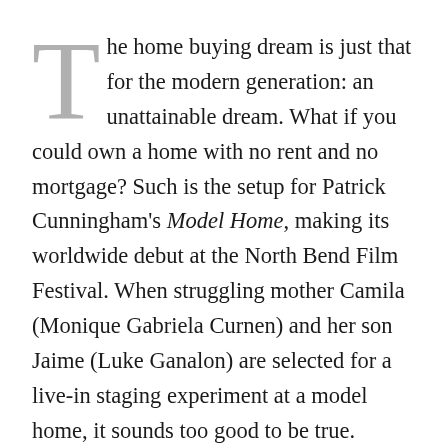The home buying dream is just that for the modern generation: an unattainable dream. What if you could own a home with no rent and no mortgage? Such is the setup for Patrick Cunningham's Model Home, making its worldwide debut at the North Bend Film Festival. When struggling mother Camila (Monique Gabriela Curnen) and her son Jaime (Luke Ganalon) are selected for a live-in staging experiment at a model home, it sounds too good to be true. Recently evicted and down on their luck, they're given an opportunity to live beyond